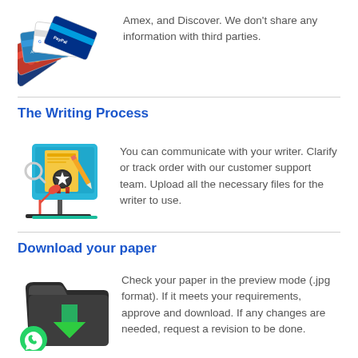[Figure (illustration): Fan of credit cards including Visa, MasterCard, AmEx, Google, and PayPal logos]
Amex, and Discover. We don't share any information with third parties.
The Writing Process
[Figure (illustration): Computer monitor showing a certificate with a star badge, a pencil, and a magnifying glass with a desk lamp]
You can communicate with your writer. Clarify or track order with our customer support team. Upload all the necessary files for the writer to use.
Download your paper
[Figure (illustration): Dark folder with a green download arrow and a WhatsApp icon in the corner]
Check your paper in the preview mode (.jpg format). If it meets your requirements, approve and download. If any changes are needed, request a revision to be done.